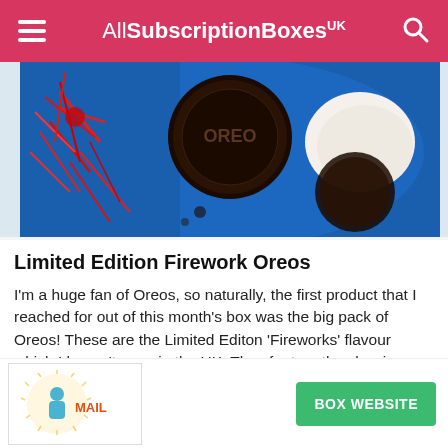AllSubscriptionBoxes UK
[Figure (photo): A blue packet of Limited Edition Firework Oreos opened with Oreo cookies visible inside — dark chocolate wafer biscuits with cream filling.]
Limited Edition Firework Oreos
I'm a huge fan of Oreos, so naturally, the first product that I reached for out of this month's box was the big pack of Oreos! These are the Limited Editon 'Fireworks' flavour which I haven't seen in the UK. They feature the classic cream and chocolate biscuit Oreo combo but with popping candy added into the cream centre. They add an extra … the Oreos and of course, an element of fun as
[Figure (logo): Mail logo — a stylized sunburst with a figure and the word 'MAIL']
BOX WEBSITE